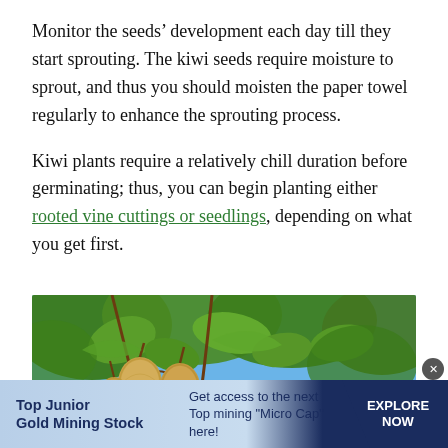Monitor the seeds' development each day till they start sprouting. The kiwi seeds require moisture to sprout, and thus you should moisten the paper towel regularly to enhance the sprouting process.
Kiwi plants require a relatively chill duration before germinating; thus, you can begin planting either rooted vine cuttings or seedlings, depending on what you get first.
[Figure (photo): Photo of kiwi fruits hanging on a vine with green leaves and blue sky in the background]
Top Junior Gold Mining Stock — Get access to the next Top mining "Micro Cap" here! EXPLORE NOW